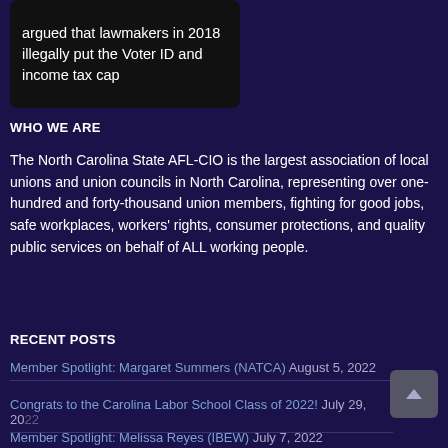[Figure (screenshot): Dark card with partial text: 'argued that lawmakers in 2018 illegally put the Voter ID and income tax cap']
WHO WE ARE
The North Carolina State AFL-CIO is the largest association of local unions and union councils in North Carolina, representing over one-hundred and forty-thousand union members, fighting for good jobs, safe workplaces, workers' rights, consumer protections, and quality public services on behalf of ALL working people.
RECENT POSTS
Member Spotlight: Margaret Summers (NATCA) August 5, 2022
Congrats to the Carolina Labor School Class of 2022! July 29, 2022
Member Spotlight: Melissa Reyes (IBEW) July 7, 2022